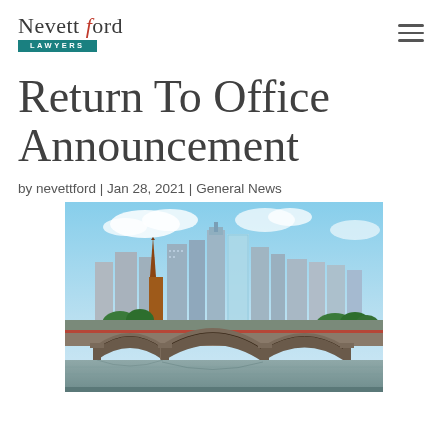[Figure (logo): Nevett Ford Lawyers logo with teal bar]
Return To Office Announcement
by nevettford | Jan 28, 2021 | General News
[Figure (photo): Aerial view of Melbourne city skyline with river and historic bridge in foreground]